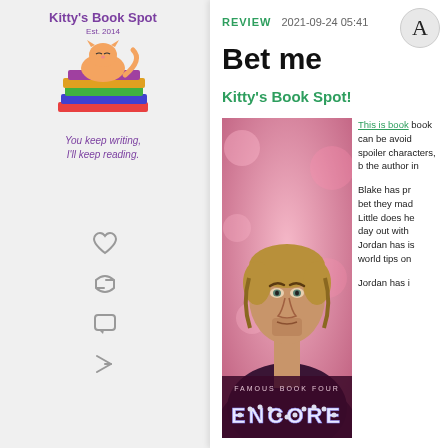[Figure (logo): Kitty's Book Spot logo with a cartoon cat on books and tagline 'You keep writing, I'll keep reading.']
REVIEW  2021-09-24 05:41
Bet me
Kitty's Book Spot!
[Figure (photo): Book cover for 'Encore' Famous Book Four, featuring a man with light brown hair against a pink bokeh background.]
This is book ... book can be ... avoid spoiler... characters, b... the author in...

Blake has pr... bet they mad... Little does he... day out with ... Jordan has is... world tips on...

Jordan has i...